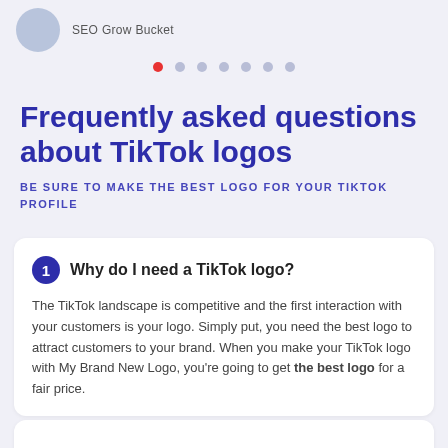SEO Grow Bucket
Frequently asked questions about TikTok logos
BE SURE TO MAKE THE BEST LOGO FOR YOUR TIKTOK PROFILE
Why do I need a TikTok logo? The TikTok landscape is competitive and the first interaction with your customers is your logo. Simply put, you need the best logo to attract customers to your brand. When you make your TikTok logo with My Brand New Logo, you're going to get the best logo for a fair price.